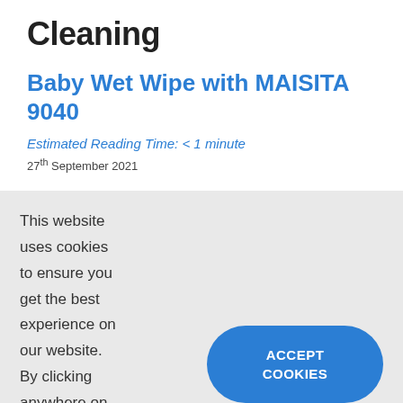Cleaning
Baby Wet Wipe with MAISITA 9040
Estimated Reading Time: < 1 minute
27th September 2021
This website uses cookies to ensure you get the best experience on our website. By clicking anywhere on our website you will accept our cookie policy.
ACCEPT COOKIES